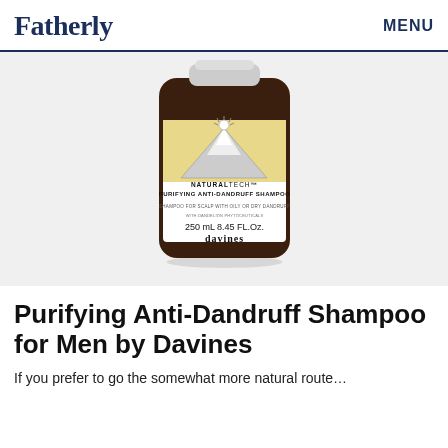Fatherly   MENU
[Figure (photo): Dark brown bottle of Davines NATURALTECH Purifying Anti-Dandruff Shampoo, 250 mL 8.45 FL.Oz., with cream/yellow label featuring a mountain and sun illustration]
Purifying Anti-Dandruff Shampoo for Men by Davines
If you prefer to go the somewhat more natural route...